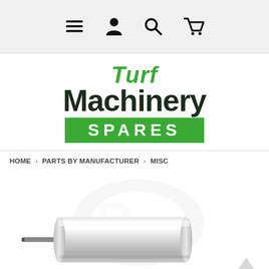Navigation bar with menu, account, search, and cart icons
[Figure (logo): Turf Machinery Spares logo: 'Turf' in green italic, 'Machinery' in dark bold, 'SPARES' in white on green bar]
HOME > PARTS BY MANUFACTURER > MISC
[Figure (photo): Product photo of a cylindrical metal roller/pin component on white background with watermark]